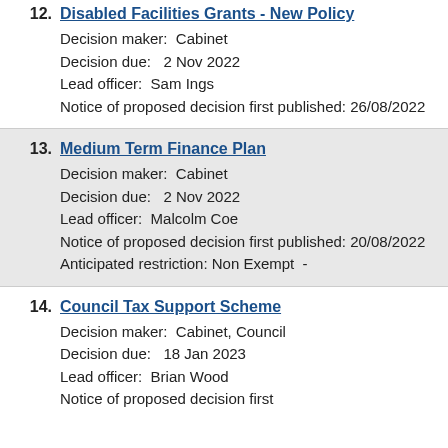12. Disabled Facilities Grants - New Policy
Decision maker: Cabinet
Decision due: 2 Nov 2022
Lead officer: Sam Ings
Notice of proposed decision first published: 26/08/2022
13. Medium Term Finance Plan
Decision maker: Cabinet
Decision due: 2 Nov 2022
Lead officer: Malcolm Coe
Notice of proposed decision first published: 20/08/2022
Anticipated restriction: Non Exempt -
14. Council Tax Support Scheme
Decision maker: Cabinet, Council
Decision due: 18 Jan 2023
Lead officer: Brian Wood
Notice of proposed decision first published: